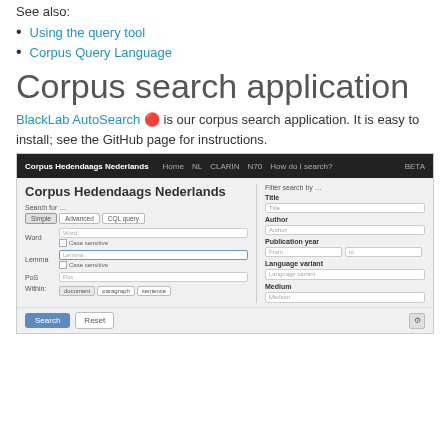See also:
Using the query tool
Corpus Query Language
Corpus search application
BlackLab AutoSearch 🔴 is our corpus search application. It is easy to install; see the GitHub page for instructions.
[Figure (screenshot): Screenshot of the BlackLab AutoSearch / Corpus Hedendaags Nederlands web interface showing a search form with fields for Word, Lemma, PoS, Within, and filter fields for Title, Author, Publication year, Language variant, and Medium, plus Search and Reset buttons.]